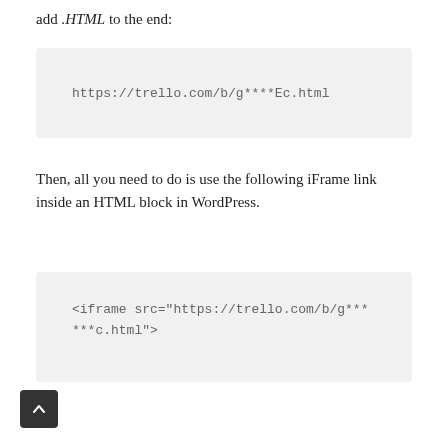add .HTML to the end:
https://trello.com/b/g****Ec.html
Then, all you need to do is use the following iFrame link inside an HTML block in WordPress.
<iframe src="https://trello.com/b/g*****c.html">